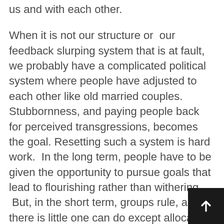us and with each other.
When it is not our structure or  our feedback slurping system that is at fault, we probably have a complicated political system where people have adjusted to each other like old married couples. Stubbornness, and paying people back for perceived transgressions, becomes the goal. Resetting such a system is hard work.  In the long term, people have to be given the opportunity to pursue goals that lead to flourishing rather than withering.  But, in the short term, groups rule, and there is little one can do except allocate more resources to keep the customers happy.
Possible people are just cross.  Solving that is a long term project.  If the organization has become inward-looking, we need a temporary “sticking plaster” of additional resources to solve pressi…